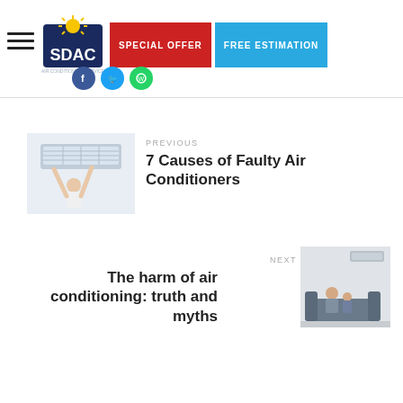[Figure (logo): SDAC air conditioning company logo with sun icon and navigation buttons: SPECIAL OFFER (red) and FREE ESTIMATION (blue)]
[Figure (photo): Woman adjusting or cleaning a wall-mounted air conditioning unit]
PREVIOUS
7 Causes of Faulty Air Conditioners
NEXT
The harm of air conditioning: truth and myths
[Figure (photo): Woman and child sitting on a couch beneath a wall-mounted air conditioner]